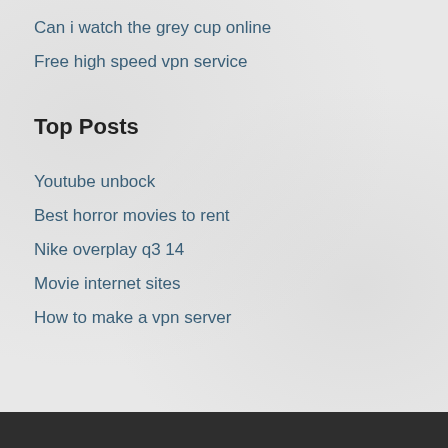Can i watch the grey cup online
Free high speed vpn service
Top Posts
Youtube unbock
Best horror movies to rent
Nike overplay q3 14
Movie internet sites
How to make a vpn server